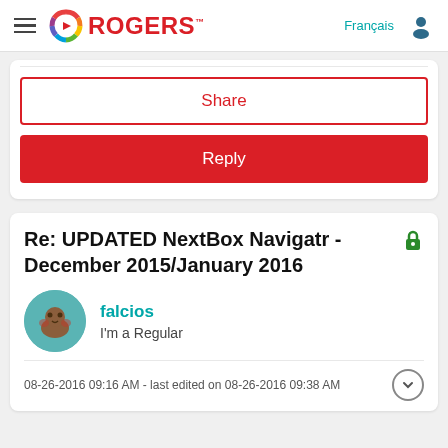ROGERS — Français
Share
Reply
Re: UPDATED NextBox Navigatr - December 2015/January 2016
falcios
I'm a Regular
08-26-2016 09:16 AM - last edited on 08-26-2016 09:38 AM